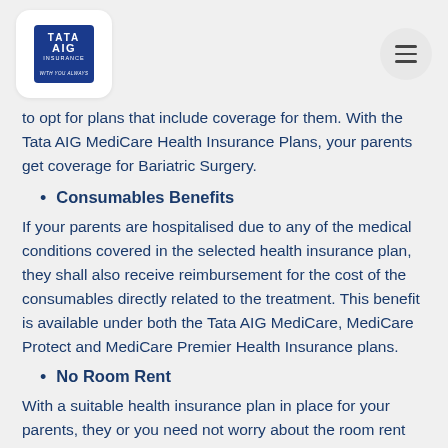Tata AIG Insurance logo and navigation menu
to opt for plans that include coverage for them. With the Tata AIG MediCare Health Insurance Plans, your parents get coverage for Bariatric Surgery.
Consumables Benefits
If your parents are hospitalised due to any of the medical conditions covered in the selected health insurance plan, they shall also receive reimbursement for the cost of the consumables directly related to the treatment. This benefit is available under both the Tata AIG MediCare, MediCare Protect and MediCare Premier Health Insurance plans.
No Room Rent
With a suitable health insurance plan in place for your parents, they or you need not worry about the room rent during their hospitalisation. This cover is given a selected...